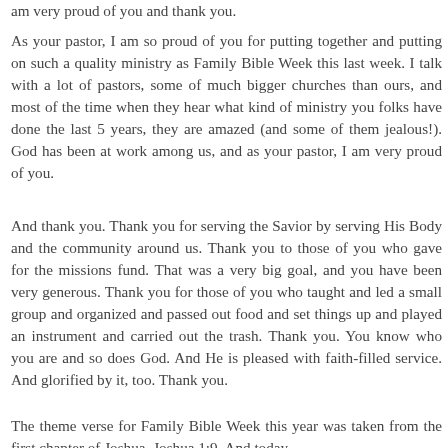am very proud of you and thank you.
As your pastor, I am so proud of you for putting together and putting on such a quality ministry as Family Bible Week this last week. I talk with a lot of pastors, some of much bigger churches than ours, and most of the time when they hear what kind of ministry you folks have done the last 5 years, they are amazed (and some of them jealous!). God has been at work among us, and as your pastor, I am very proud of you.
And thank you. Thank you for serving the Savior by serving His Body and the community around us. Thank you to those of you who gave for the missions fund. That was a very big goal, and you have been very generous. Thank you for those of you who taught and led a small group and organized and passed out food and set things up and played an instrument and carried out the trash. Thank you. You know who you are and so does God. And He is pleased with faith-filled service. And glorified by it, too. Thank you.
The theme verse for Family Bible Week this year was taken from the first chapter of Joshua, Joshua 1:9. And today